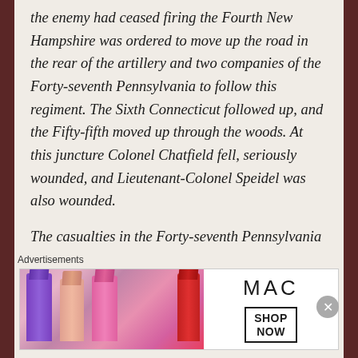the enemy had ceased firing the Fourth New Hampshire was ordered to move up the road in the rear of the artillery and two companies of the Forty-seventh Pennsylvania to follow this regiment. The Sixth Connecticut followed up, and the Fifty-fifth moved up through the woods. At this juncture Colonel Chatfield fell, seriously wounded, and Lieutenant-Colonel Speidel was also wounded.
The casualties in the Forty-seventh Pennsylvania amounted to 96 men. As yet I am unable to learn the loss of the
[Figure (advertisement): MAC Cosmetics advertisement showing colorful lipsticks (purple, peach, pink, red) on the left, MAC logo in the center, and a SHOP NOW box on the right. Labeled 'Advertisements' above.]